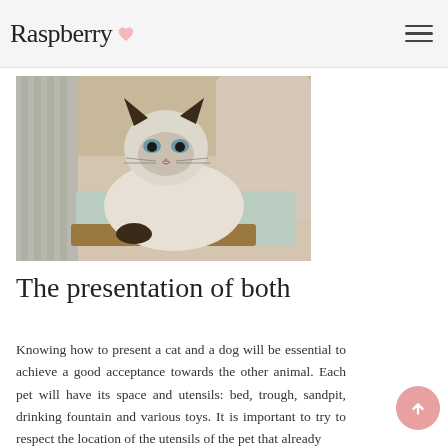Raspberry
[Figure (photo): A Siamese cat lying on a cushion on a wooden surface, with striped pillows and light fabric in the background.]
The presentation of both
Knowing how to present a cat and a dog will be essential to achieve a good acceptance towards the other animal. Each pet will have its space and utensils: bed, trough, sandpit, drinking fountain and various toys. It is important to try to respect the location of the utensils of the pet that already